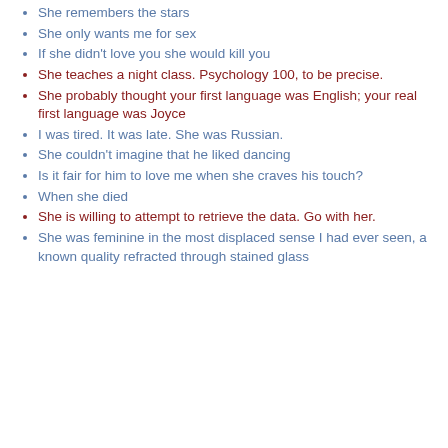She remembers the stars
She only wants me for sex
If she didn't love you she would kill you
She teaches a night class. Psychology 100, to be precise.
She probably thought your first language was English; your real first language was Joyce
I was tired. It was late. She was Russian.
She couldn't imagine that he liked dancing
Is it fair for him to love me when she craves his touch?
When she died
She is willing to attempt to retrieve the data. Go with her.
She was feminine in the most displaced sense I had ever seen, a known quality refracted through stained glass